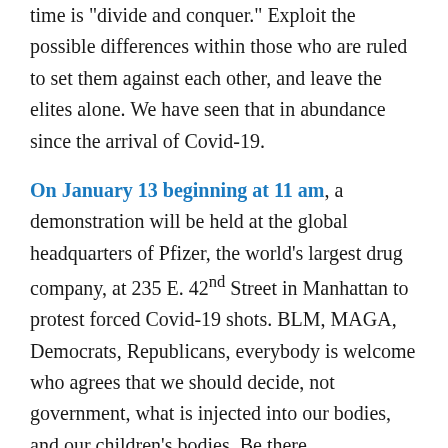time is "divide and conquer." Exploit the possible differences within those who are ruled to set them against each other, and leave the elites alone. We have seen that in abundance since the arrival of Covid-19.
On January 13 beginning at 11 am, a demonstration will be held at the global headquarters of Pfizer, the world's largest drug company, at 235 E. 42nd Street in Manhattan to protest forced Covid-19 shots. BLM, MAGA, Democrats, Republicans, everybody is welcome who agrees that we should decide, not government, what is injected into our bodies, and our children's bodies. Be there
Please share this message with friends and family, and please share on social networks while we still can.